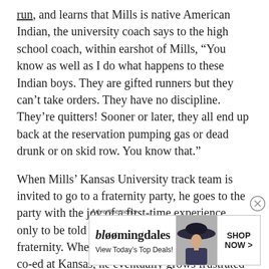run, and learns that Mills is native American Indian, the university coach says to the high school coach, within earshot of Mills, “You know as well as I do what happens to these Indian boys. They are gifted runners but they can’t take orders. They have no discipline. They’re quitters! Sooner or later, they all end up back at the reservation pumping gas or dead drunk or on skid row. You know that.”

When Mills’ Kansas University track team is invited to go to a fraternity party, he goes to the party with the joy of a first-time experience, only to be told that Indians aren’t allowed in the fraternity. When he begins dating a Caucasian co-ed at Kansas, he eventually grows frustrated that the parents of his girlfriend, later his wife Pat, did not openly accept
Advertisements
[Figure (other): Bloomingdale's advertisement banner showing logo, 'View Today's Top Deals!' tagline, a woman in a large hat, and a 'SHOP NOW >' button.]